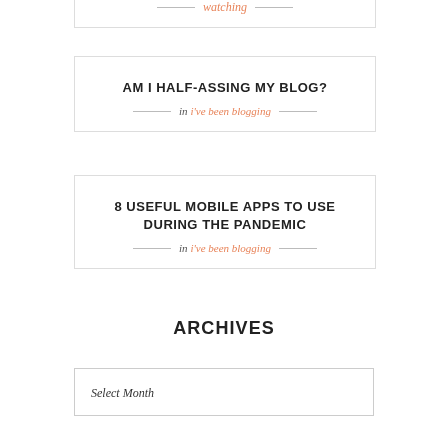watching
AM I HALF-ASSING MY BLOG?
in i've been blogging
8 USEFUL MOBILE APPS TO USE DURING THE PANDEMIC
in i've been blogging
ARCHIVES
Select Month